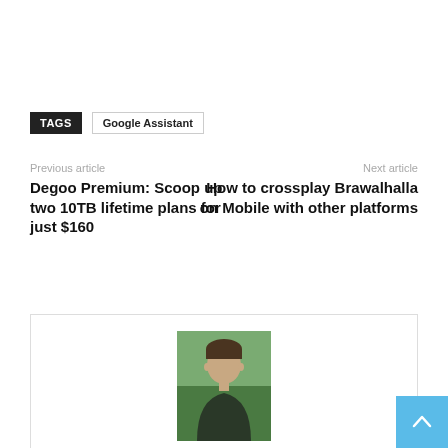TAGS   Google Assistant
Previous article
Degoo Premium: Scoop up two 10TB lifetime plans for just $160
Next article
How to crossplay Brawalhalla on Mobile with other platforms
[Figure (photo): Author headshot photo: a young man with short dark hair wearing a dark v-neck shirt, photographed outdoors with green trees in background]